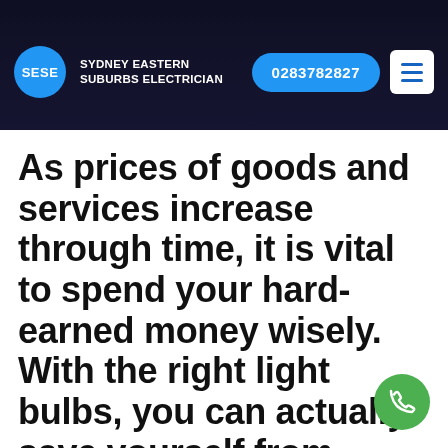[Figure (screenshot): Website header with dark background photo of a person, showing the Sydney Eastern Suburbs Electrician navigation bar with logo, phone number button, and hamburger menu]
As prices of goods and services increase through time, it is vital to spend your hard-earned money wisely. With the right light bulbs, you can actually save yourself from costly electric bills.